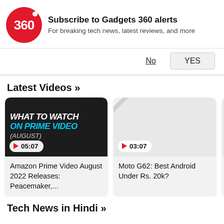[Figure (screenshot): Gadgets 360 subscription notification banner with red circular logo showing '360', bold text 'Subscribe to Gadgets 360 alerts', subtitle 'For breaking tech news, latest reviews, and more', and 'No' / 'YES' buttons]
Latest Videos »
[Figure (screenshot): Video thumbnail showing dark background with text 'WHAT TO WATCH ON PRIME VIDEO (AUGUST)' with play button badge showing 05:07]
Amazon Prime Video August 2022 Releases: Peacemaker,...
[Figure (screenshot): Grey placeholder video thumbnail with play button badge showing 03:07]
Moto G62: Best Android Under Rs. 20k?
Tech News in Hindi »